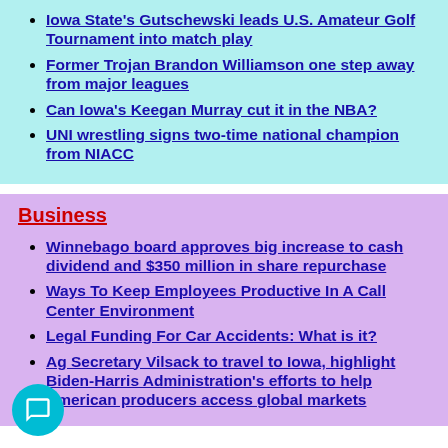Iowa State's Gutschewski leads U.S. Amateur Golf Tournament into match play
Former Trojan Brandon Williamson one step away from major leagues
Can Iowa's Keegan Murray cut it in the NBA?
UNI wrestling signs two-time national champion from NIACC
Business
Winnebago board approves big increase to cash dividend and $350 million in share repurchase
Ways To Keep Employees Productive In A Call Center Environment
Legal Funding For Car Accidents: What is it?
Ag Secretary Vilsack to travel to Iowa, highlight Biden-Harris Administration's efforts to help American producers access global markets